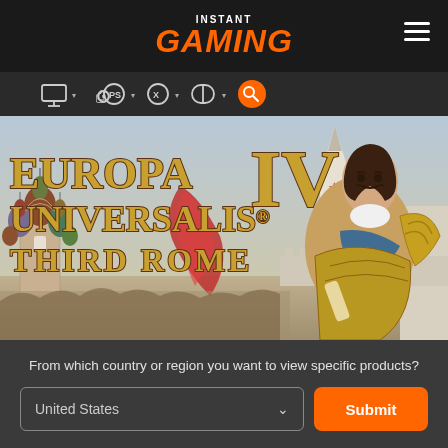INSTANT GAMING
[Figure (screenshot): Instant Gaming website navigation bar with PC, PlayStation, Xbox, Nintendo Switch icons and search button]
[Figure (illustration): Europa Universalis IV Third Rome game banner featuring golden title text, Saint Basil's Cathedral, Kremlin towers, and a armored figure (Peter the Great)]
From which country or region you want to view specific products?
United States
Submit